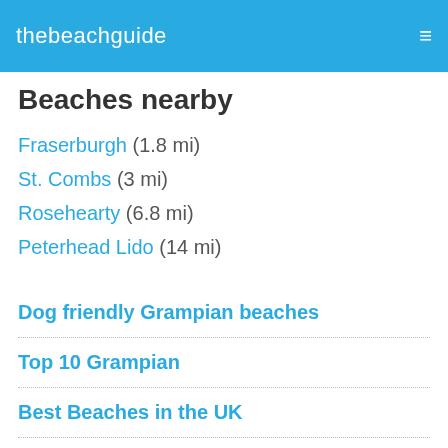thebeachguide
Beaches nearby
Fraserburgh (1.8 mi)
St. Combs (3 mi)
Rosehearty (6.8 mi)
Peterhead Lido (14 mi)
Dog friendly Grampian beaches
Top 10 Grampian
Best Beaches in the UK
Beach List
Beaches Near Me
UK Sea Temperature